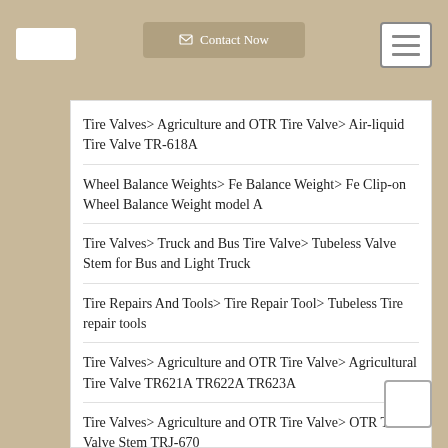Contact Now
Tire Valves> Agriculture and OTR Tire Valve> Air-liquid Tire Valve TR-618A
Wheel Balance Weights> Fe Balance Weight> Fe Clip-on Wheel Balance Weight model A
Tire Valves> Truck and Bus Tire Valve> Tubeless Valve Stem for Bus and Light Truck
Tire Repairs And Tools> Tire Repair Tool> Tubeless Tire repair tools
Tire Valves> Agriculture and OTR Tire Valve> Agricultural Tire Valve TR621A TR622A TR623A
Tire Valves> Agriculture and OTR Tire Valve> OTR Tire Valve Stem TRJ-670
Tire Repairs And Tools> Tire Valve Extension> Long Rubber Inflator Hose
Tire Repairs And Tools> Tire Repair Tool> 4-way Cross